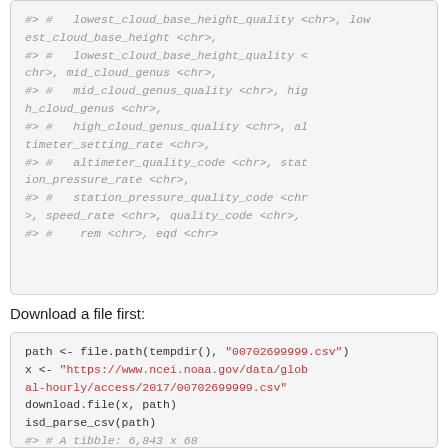#> #   lowest_cloud_base_height_quality <chr>, mid_cloud_genus <chr>, #> #   mid_cloud_genus_quality <chr>, high_cloud_genus <chr>, #> #   high_cloud_genus_quality <chr>, altimeter_setting_rate <chr>, #> #   altimeter_quality_code <chr>, station_pressure_rate <chr>, #> #   station_pressure_quality_code <chr>, speed_rate <chr>, quality_code <chr>, #> #   rem <chr>, eqd <chr>
Download a file first:
path <- file.path(tempdir(), "00702699999.csv")
x <- "https://www.ncei.noaa.gov/data/global-hourly/access/2017/00702699999.csv"
download.file(x, path)
isd_parse_csv(path)
#> # A tibble: 6,843 x 68
#>    station date                    source
#>    latitude longitude elevation name